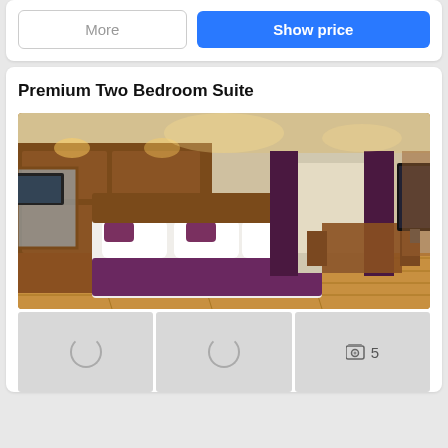More
Show price
Premium Two Bedroom Suite
[Figure (photo): Hotel room interior showing a large bed with white linens and purple/maroon throw blanket, wooden paneled headboard wall, hardwood floors, flat-screen TV mounted on wall, and dining table with chairs near window with purple curtains.]
[Figure (photo): Thumbnail image loading (spinner)]
[Figure (photo): Thumbnail image loading (spinner)]
[Figure (photo): Photo gallery thumbnail showing image icon with count: 5]